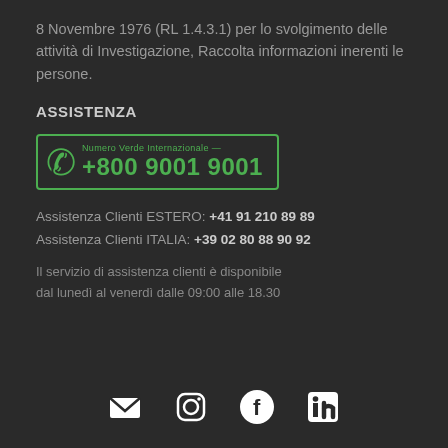8 Novembre 1976 (RL 1.4.3.1) per lo svolgimento delle attività di Investigazione, Raccolta informazioni inerenti le persone.
ASSISTENZA
[Figure (infographic): Green bordered box showing Numero Verde Internazionale label and phone number +800 9001 9001 with phone icon]
Assistenza Clienti ESTERO: +41 91 210 89 89
Assistenza Clienti ITALIA: +39 02 80 88 90 92
Il servizio di assistenza clienti è disponibile dal lunedì al venerdì dalle 09:00 alle 18.30
[Figure (infographic): Social media icons row: email (envelope), Instagram, Facebook, LinkedIn]